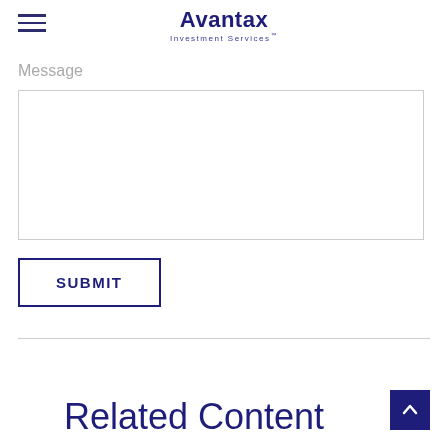Avantax Investment Services
Message
[Figure (other): Empty text area input box for message entry]
SUBMIT
Related Content